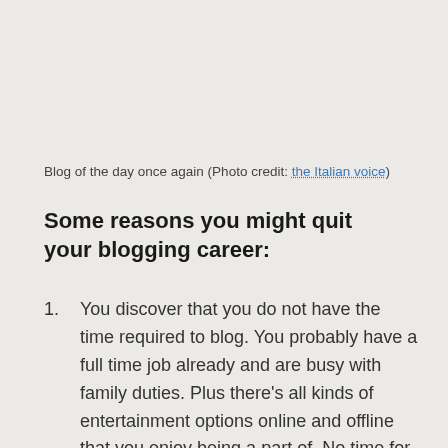Blog of the day once again (Photo credit: the Italian voice)
Some reasons you might quit your blogging career:
1. You discover that you do not have the time required to blog. You probably have a full time job already and are busy with family duties. Plus there’s all kinds of entertainment options online and offline that you enjoy being a part of. No time for something that is not very profitable right from the start.